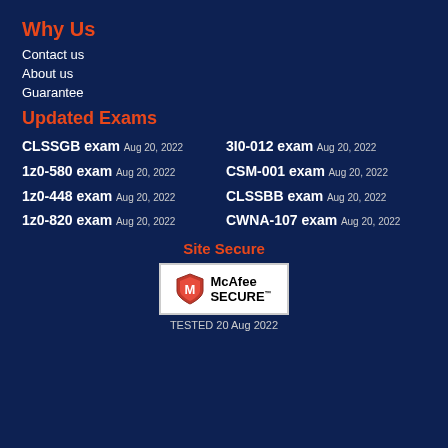Why Us
Contact us
About us
Guarantee
Updated Exams
CLSSGB exam Aug 20, 2022
3I0-012 exam Aug 20, 2022
1z0-580 exam Aug 20, 2022
CSM-001 exam Aug 20, 2022
1z0-448 exam Aug 20, 2022
CLSSBB exam Aug 20, 2022
1z0-820 exam Aug 20, 2022
CWNA-107 exam Aug 20, 2022
Site Secure
[Figure (logo): McAfee SECURE logo in a white box]
TESTED 20 Aug 2022